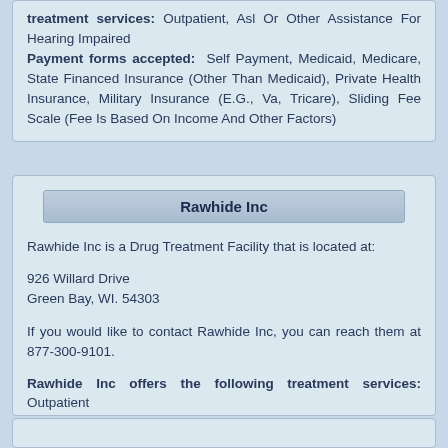treatment services: Outpatient, Asl Or Other Assistance For Hearing Impaired
Payment forms accepted: Self Payment, Medicaid, Medicare, State Financed Insurance (Other Than Medicaid), Private Health Insurance, Military Insurance (E.G., Va, Tricare), Sliding Fee Scale (Fee Is Based On Income And Other Factors)
Rawhide Inc
Rawhide Inc is a Drug Treatment Facility that is located at:
926 Willard Drive
Green Bay, WI. 54303
If you would like to contact Rawhide Inc, you can reach them at 877-300-9101.
Rawhide Inc offers the following treatment services: Outpatient
Payment forms accepted: Self Payment, Medicaid, Private Health Insurance, Military Insurance (E.G., Va, Tricare), Sliding Fee Scale (Fee Is Based On Income And Other Factors)